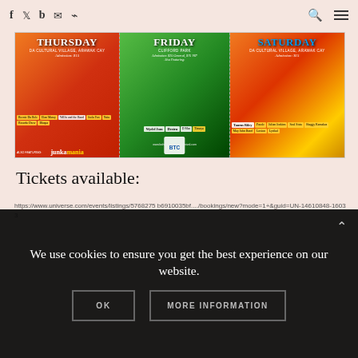f  Twitter  b  Email  RSS | Search | Menu
[Figure (photo): Event flyer banner showing three-day Junkanoo Carnival schedule: Thursday at Da Cultural Village, Arawak Cay (Admission $15) featuring Beenie Du Bele, Willie and the Band, Elan Massy, Joela Fox, Naiu, Ricardo Dru, Blaqua, and others; Friday at Clifford Park (Admission $25 General, $75 VIP) featuring Wyclef Jean, Destra, D Mac, Timaya, and others; Saturday at Da Cultural Village, Arawak Cay (Admission $15) featuring Taurus Riley, Puzzle, Julian Jenkins, Soul Sista, Shaggy Kamakas, May John Band, Loxion, Lyrikal. BTC sponsor logo. Junkamania branding.]
Tickets available:
https://www.universe.com/events/listings/5768275 b6910035bf..../bookings/new?mode=1+&guid=UN-14610848-16033
We use cookies to ensure you get the best experience on our website.
OK
MORE INFORMATION